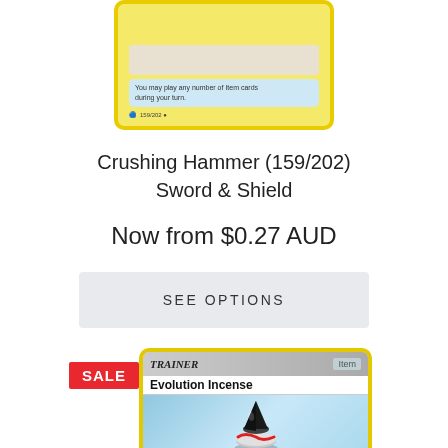[Figure (photo): Partial Pokemon Trainer Item card (Crushing Hammer 159/202) with yellow border, light blue text bubble reading 'You may play any number of Item cards during your turn.']
Crushing Hammer (159/202)
Sword & Shield
Now from $0.27 AUD
SEE OPTIONS
[Figure (photo): Pokemon Trainer Item card - Evolution Incense, showing a cone-shaped incense item on a light blue sparkly background. Card text reads: 'Search your deck for an Evolution Pokemon, reveal it, and put it into your hand. Then, shuffle your deck.' Has a SALE badge on the left.]